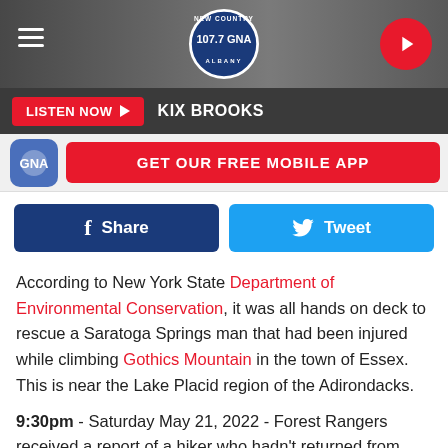[Figure (screenshot): 107.7 GNA Albany radio station website header with logo, hamburger menu, and play button]
LISTEN NOW ▶  KIX BROOKS
[Figure (infographic): GET OUR FREE MOBILE APP banner with app icon and red button]
[Figure (infographic): Facebook Share and Twitter Tweet social share buttons]
According to New York State Department of Environmental Conservation, it was all hands on deck to rescue a Saratoga Springs man that had been injured while climbing Gothics Mountain in the town of Essex. This is near the Lake Placid region of the Adirondacks.
9:30pm - Saturday May 21, 2022 - Forest Rangers received a report of a hiker who hadn't returned from their outing and friends and family grew concerned. Ranger Praczkajlo set out